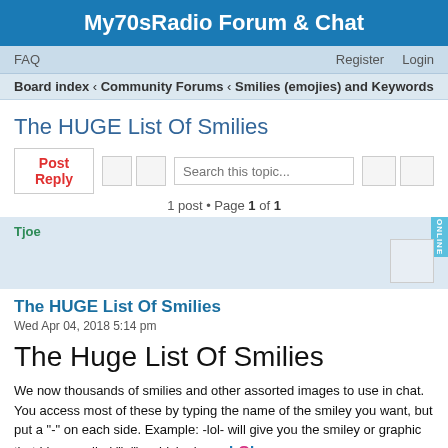My70sRadio Forum & Chat
FAQ  Register  Login
Board index < Community Forums < Smilies (emojies) and Keywords
The HUGE List Of Smilies
Post Reply  Search this topic...  1 post • Page 1 of 1
Tjoe
The HUGE List Of Smilies
Wed Apr 04, 2018 5:14 pm
The Huge List Of Smilies
We now thousands of smilies and other assorted images to use in chat. You access most of these by typing the name of the smiley you want, but put a "-" on each side. Example: -lol- will give you the smiley or graphic that I have called "lol" - which gives: :LOL: